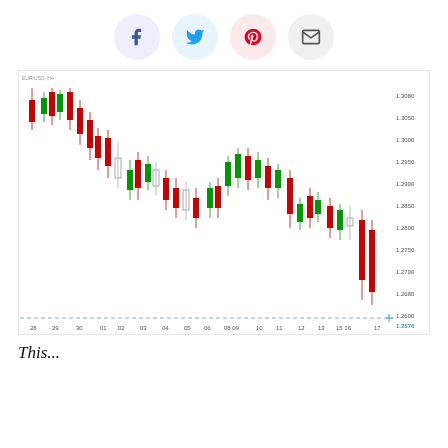[Figure (other): Social sharing buttons: Facebook, Twitter, Pinterest, Email]
[Figure (continuous-plot): Candlestick chart showing forex price action (likely GBP/USD or EUR/USD) from dates 28 through 17, with price range approximately 1.2576 to 1.3080. Red and green candles showing a downtrend from ~1.3080, recovery to ~1.3000, then sharp decline to ~1.2576 at date 17. A dashed horizontal line near the bottom at ~1.2580.]
This...